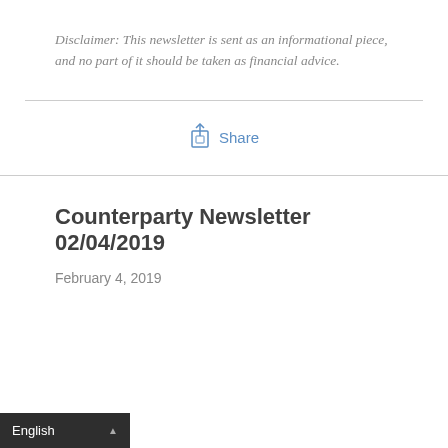Disclaimer: This newsletter is sent as an informational piece, and no part of it should be taken as financial advice.
[Figure (other): Share button with upload/share icon and 'Share' text in blue]
Counterparty Newsletter 02/04/2019
February 4, 2019
English ▲